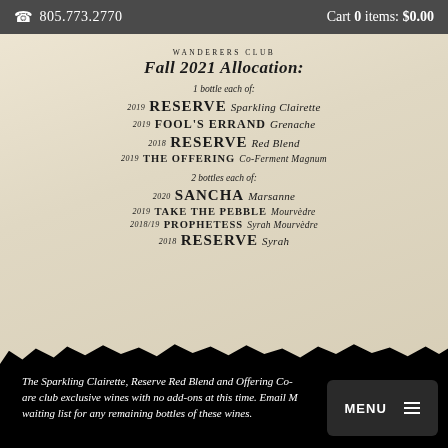805.773.2770   Cart 0 items: $0.00
[Figure (other): Wanderers Club wine allocation card on parchment background listing wines for Fall 2021 Allocation]
The Sparkling Clairette, Reserve Red Blend and Offering Co-Ferment Magnum are club exclusive wines with no add-ons at this time. Email Mc... waiting list for any remaining bottles of these wines.